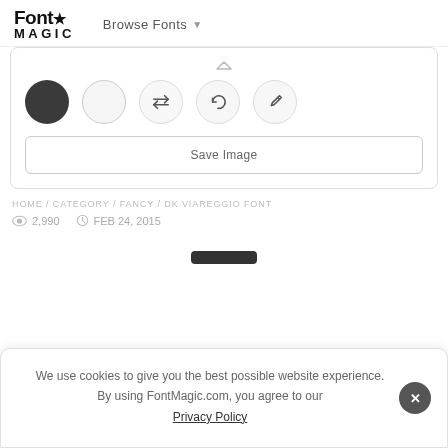[Figure (logo): Font Magic logo with star icon]
Browse Fonts
[Figure (screenshot): Toolbar card with color swatches (dark circle, light circle) and icon buttons (swap, undo, eyedropper), and a Save Image button]
HOME / CATEGORY / FANCY / DK VIAREGGIO FONT
2,990   FEB 24, 2015
We use cookies to give you the best possible website experience. By using FontMagic.com, you agree to our Privacy Policy